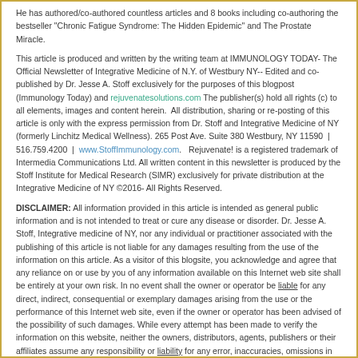He has authored/co-authored countless articles and 8 books including co-authoring the bestseller "Chronic Fatigue Syndrome: The Hidden Epidemic" and The Prostate Miracle.
This article is produced and written by the writing team at IMMUNOLOGY TODAY- The Official Newsletter of Integrative Medicine of N.Y. of Westbury NY-- Edited and co-published by Dr. Jesse A. Stoff exclusively for the purposes of this blogpost (Immunology Today) and rejuvenatesolutions.com The publisher(s) hold all rights (c) to all elements, images and content herein. All distribution, sharing or re-posting of this article is only with the express permission from Dr. Stoff and Integrative Medicine of NY (formerly Linchitz Medical Wellness). 265 Post Ave. Suite 380 Westbury, NY 11590 | 516.759.4200 | www.StoffImmunology.com. Rejuvenate! is a registered trademark of Intermedia Communications Ltd. All written content in this newsletter is produced by the Stoff Institute for Medical Research (SIMR) exclusively for private distribution at the Integrative Medicine of NY ©2016- All Rights Reserved.
DISCLAIMER: All information provided in this article is intended as general public information and is not intended to treat or cure any disease or disorder. Dr. Jesse A. Stoff, Integrative medicine of NY, nor any individual or practitioner associated with the publishing of this article is not liable for any damages resulting from the use of the information on this article. As a visitor of this blogsite, you acknowledge and agree that any reliance on or use by you of any information available on this Internet web site shall be entirely at your own risk. In no event shall the owner or operator be liable for any direct, indirect, consequential or exemplary damages arising from the use or the performance of this Internet web site, even if the owner or operator has been advised of the possibility of such damages. While every attempt has been made to verify the information on this website, neither the owners, distributors, agents, publishers or their affiliates assume any responsibility or liability for any error, inaccuracies, omissions in the same, or related to results from use of these materials. No party is liable for any direct, incidental, consequential, indirect, or punitive